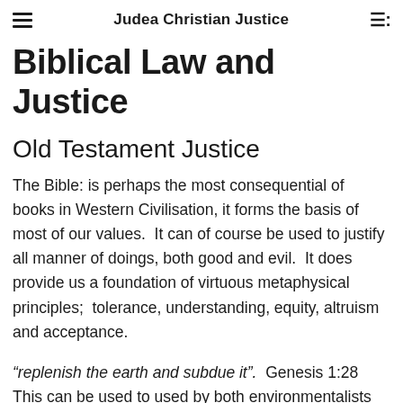Judea Christian Justice
Biblical Law and Justice
Old Testament Justice
The Bible: is perhaps the most consequential of books in Western Civilisation, it forms the basis of most of our values.  It can of course be used to justify all manner of doings, both good and evil.  It does provide us a foundation of virtuous metaphysical principles;  tolerance, understanding, equity, altruism and acceptance.
“replenish the earth and subdue it”.  Genesis 1:28  This can be used to used by both environmentalists and exploitive developers.